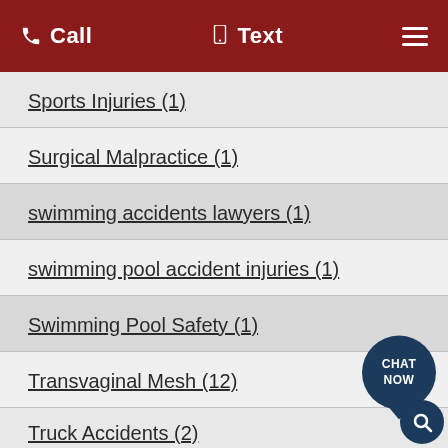Call   Text   ☰
Sports Injuries (1)
Surgical Malpractice (1)
swimming accidents lawyers (1)
swimming pool accident injuries (1)
Swimming Pool Safety (1)
Transvaginal Mesh (12)
Truck Accidents (2)